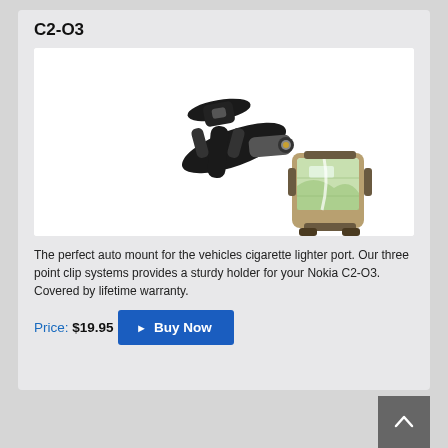C2-O3
[Figure (photo): Product photo of a car cigarette lighter port auto mount holder for Nokia C2-O3, showing a black three-point clip mounting bracket with cigarette lighter adapter, and a separate view of the device holding a GPS/phone device.]
The perfect auto mount for the vehicles cigarette lighter port. Our three point clip systems provides a sturdy holder for your Nokia C2-O3. Covered by lifetime warranty.
Price: $19.95
Buy Now